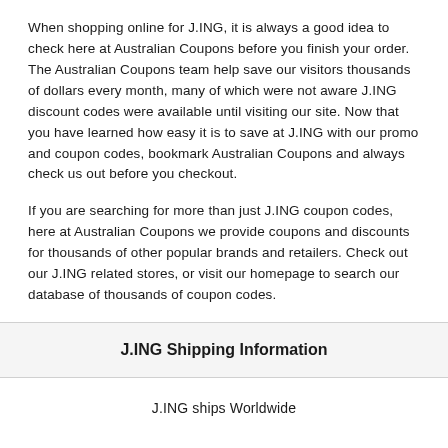When shopping online for J.ING, it is always a good idea to check here at Australian Coupons before you finish your order. The Australian Coupons team help save our visitors thousands of dollars every month, many of which were not aware J.ING discount codes were available until visiting our site. Now that you have learned how easy it is to save at J.ING with our promo and coupon codes, bookmark Australian Coupons and always check us out before you checkout.
If you are searching for more than just J.ING coupon codes, here at Australian Coupons we provide coupons and discounts for thousands of other popular brands and retailers. Check out our J.ING related stores, or visit our homepage to search our database of thousands of coupon codes.
J.ING Shipping Information
J.ING ships Worldwide